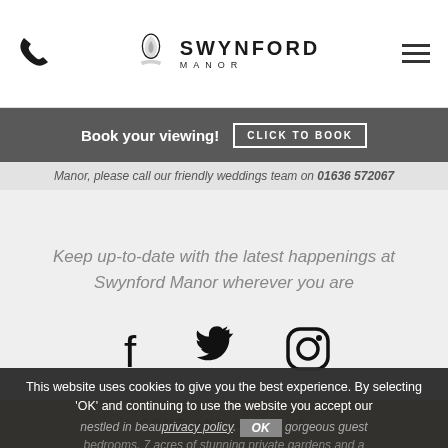[Figure (logo): Swynford Manor logo with emblem, name and 'MANOR' subtitle]
Book your viewing!
CLICK TO BOOK
Manor, please call our friendly weddings team on 01636 572067
Keep up-to-date with the latest happenings at Swynford Manor wherever you are
[Figure (other): Facebook, Twitter, and Instagram social media icons]
This website uses cookies to give you the best experience. By selecting 'OK' and continuing to use the website you accept our privacy policy. OK
nestled in beautiful grounds, gorgeous guest bedrooms, 7 acres of stunning private gardens and a
COME AND VISIT US